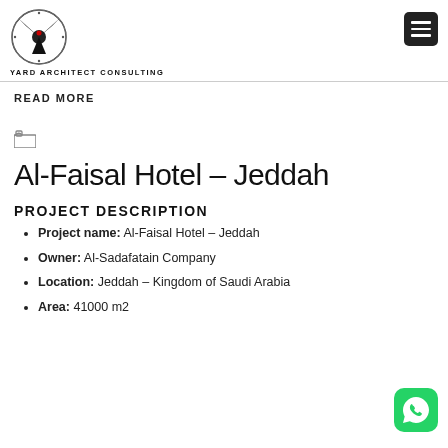YARD ARCHITECT CONSULTING
READ MORE
Al-Faisal Hotel – Jeddah
PROJECT DESCRIPTION
Project name: Al-Faisal Hotel – Jeddah
Owner: Al-Sadafatain Company
Location: Jeddah – Kingdom of Saudi Arabia
Area: 41000 m2